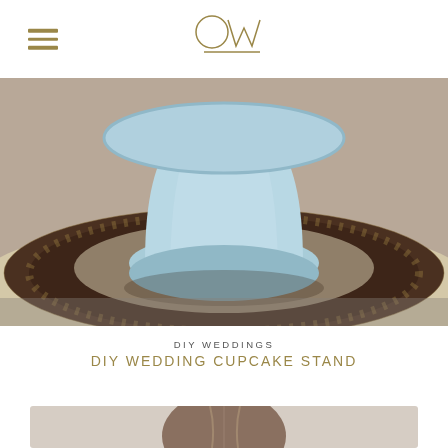OW (logo)
[Figure (photo): Close-up photo of a light blue ceramic cupcake/cake stand sitting on a decorative patterned plate with dark brown and gold floral/geometric design]
DIY WEDDINGS
DIY WEDDING CUPCAKE STAND
[Figure (photo): Top portion of a woman's head with brown hair, light background]